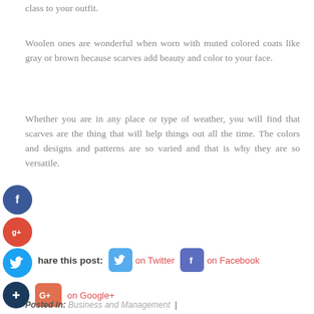class to your outfit.
Woolen ones are wonderful when worn with muted colored coats like gray or brown because scarves add beauty and color to your face.
Whether you are in any place or type of weather, you will find that scarves are the thing that will help things out all the time. The colors and designs and patterns are so varied and that is why they are so versatile.
[Figure (infographic): Social media sharing icons and buttons: Facebook (blue circle with f), Google+ (red circle with g+), Twitter (blue circle with bird), Share this post label, Twitter button, Facebook button, Google+ button]
Posted in: Business and Management  |